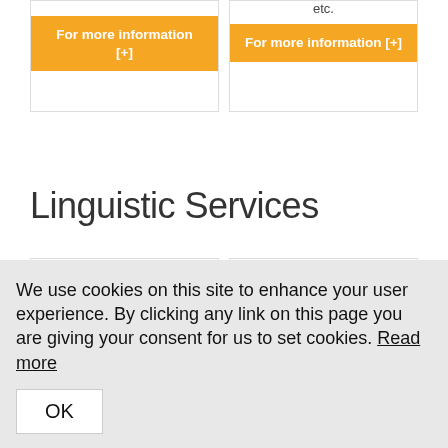etc.
For more information [+]
For more information [+]
Linguistic Services
[Figure (illustration): Microphone icon in blue]
[Figure (illustration): Screen/monitor icon in blue]
We use cookies on this site to enhance your user experience. By clicking any link on this page you are giving your consent for us to set cookies. Read more
OK